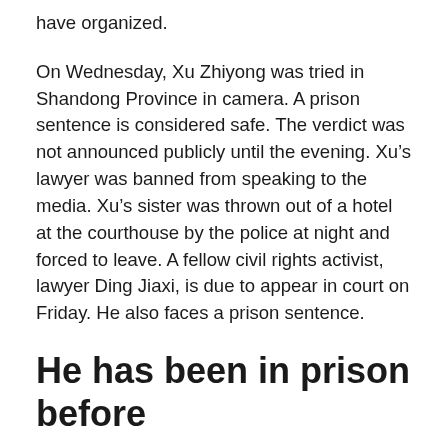have organized.
On Wednesday, Xu Zhiyong was tried in Shandong Province in camera. A prison sentence is considered safe. The verdict was not announced publicly until the evening. Xu’s lawyer was banned from speaking to the media. Xu’s sister was thrown out of a hotel at the courthouse by the police at night and forced to leave. A fellow civil rights activist, lawyer Ding Jiaxi, is due to appear in court on Friday. He also faces a prison sentence.
He has been in prison before
It is the second time that 49-year-old Xu